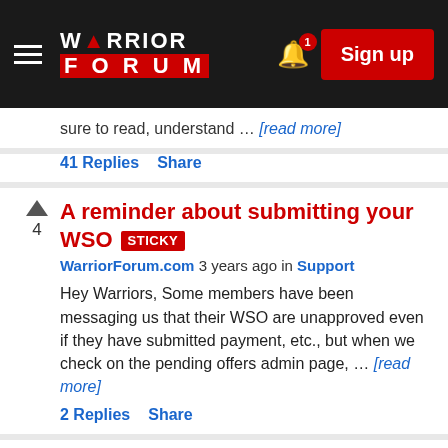Warrior Forum — Sign up
sure to read, understand ... [read more]
41 Replies   Share
A reminder about submitting your WSO STICKY
WarriorForum.com 3 years ago in Support
Hey Warriors, Some members have been messaging us that their WSO are unapproved even if they have submitted payment, etc., but when we check on the pending offers admin page, ... [read more]
2 Replies   Share
Signature Problems!
WarriorForum.com 3 years ago in Support
Why is my signature now showing? Signatures are disabled in the WSO section. It is the reason why you may not see your signature file on paid sections, like the ... [read more]